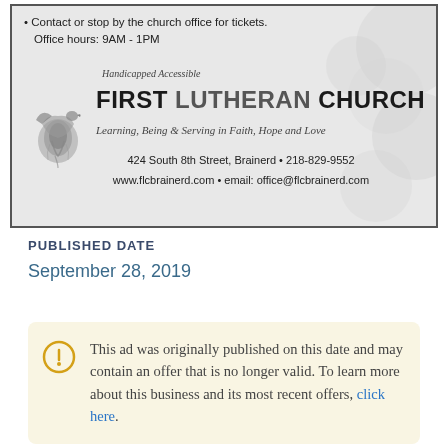[Figure (other): Advertisement for First Lutheran Church, Brainerd. Shows contact info, church name, tagline 'Learning, Being & Serving in Faith, Hope and Love', address 424 South 8th Street, Brainerd, phone 218-829-9552, website www.flcbrainerd.com, email office@flcbrainerd.com. Notes Handicapped Accessible. Background has decorative dove/swirl logo.]
PUBLISHED DATE
September 28, 2019
This ad was originally published on this date and may contain an offer that is no longer valid. To learn more about this business and its most recent offers, click here.